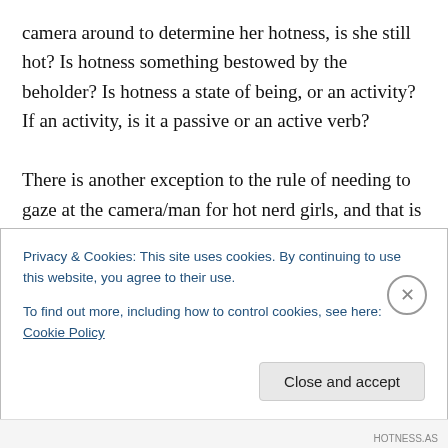camera around to determine her hotness, is she still hot? Is hotness something bestowed by the beholder? Is hotness a state of being, or an activity? If an activity, is it a passive or an active verb?

There is another exception to the rule of needing to gaze at the camera/man for hot nerd girls, and that is the HotNerd, Gamer Phenotype. HotGamerNerdGirls, unlike other HotNerdGirls, do not have to wear glasses. I'm wearing mine here because I genuinely can't see without them.
Privacy & Cookies: This site uses cookies. By continuing to use this website, you agree to their use.
To find out more, including how to control cookies, see here: Cookie Policy